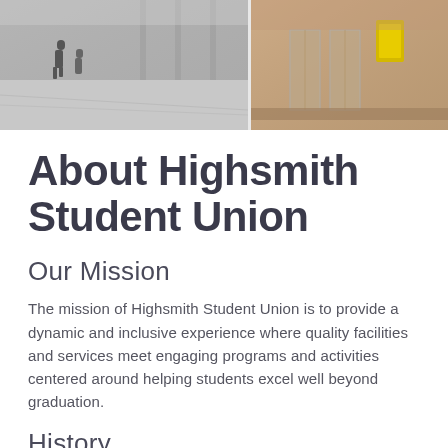[Figure (photo): Two-panel banner photo: left panel shows black-and-white image of people walking in an open plaza or building interior; right panel shows a warm-toned exterior or interior architectural shot with glass doors and a yellow poster.]
About Highsmith Student Union
Our Mission
The mission of Highsmith Student Union is to provide a dynamic and inclusive experience where quality facilities and services meet engaging programs and activities centered around helping students excel well beyond graduation.
History